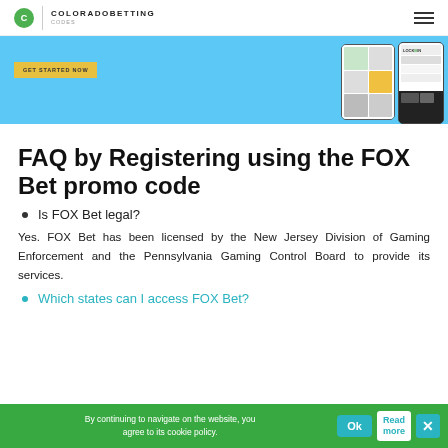COLORADOBETTING CODES
[Figure (screenshot): Promotional banner with blue background, GET STARTED NOW yellow button, and phone mockups showing a betting app with LockBet branding]
FAQ by Registering using the FOX Bet promo code
Is FOX Bet legal?
Yes. FOX Bet has been licensed by the New Jersey Division of Gaming Enforcement and the Pennsylvania Gaming Control Board to provide its services.
Which states can I access FOX Bet?
By continuing to navigate on the website, you agree to its cookie policy.